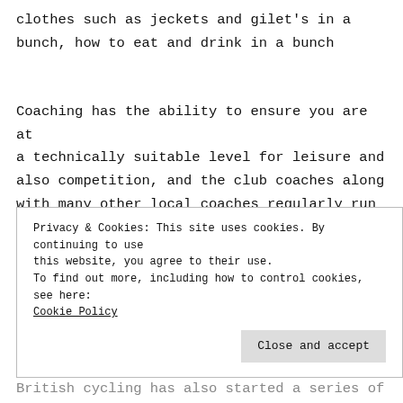clothes such as jeckets and gilet's in a bunch, how to eat and drink in a bunch
Coaching has the ability to ensure you are at a technically suitable level for leisure and also competition, and the club coaches along with many other local coaches regularly run sessions to provide this kind of training. You can find more information about coaching,
Privacy & Cookies: This site uses cookies. By continuing to use this website, you agree to their use. To find out more, including how to control cookies, see here: Cookie Policy
Close and accept
British cycling has also started a series of